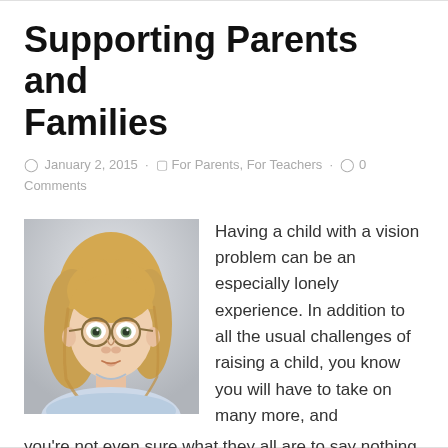Supporting Parents and Families
January 2, 2015 · For Parents, For Teachers · 0 Comments
[Figure (photo): Young girl with round glasses and blonde hair looking at camera]
Having a child with a vision problem can be an especially lonely experience. In addition to all the usual challenges of raising a child, you know you will have to take on many more, and you're not even sure what they all are to say nothing of having little or no idea where to get the answers. If you live